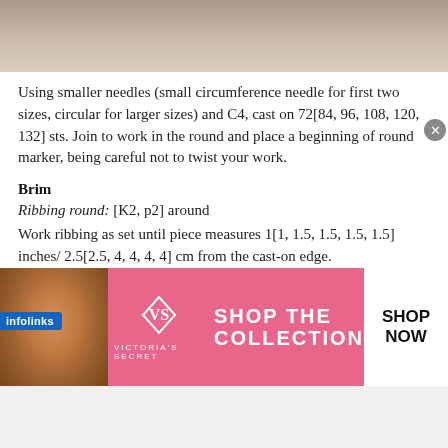[Figure (photo): Partial photo of a person wearing a light-colored knit sweater, cropped to show the top portion only]
Using smaller needles (small circumference needle for first two sizes, circular for larger sizes) and C4, cast on 72[84, 96, 108, 120, 132] sts. Join to work in the round and place a beginning of round marker, being careful not to twist your work.
Brim
Ribbing round: [K2, p2] around
Work ribbing as set until piece measures 1[1, 1.5, 1.5, 1.5, 1.5] inches/ 2.5[2.5, 4, 4, 4, 4] cm from the cast-on edge.
Body
Switch to larger needles (small circumference needles for first two sizes, circular for larger sizes) and knit one round.
Next round: Work Colorwork chart around.
[Figure (photo): Victoria's Secret advertisement banner with pink background, model photo on left, VS logo in center, 'SHOP THE COLLECTION' text, and 'SHOP NOW' button on right]